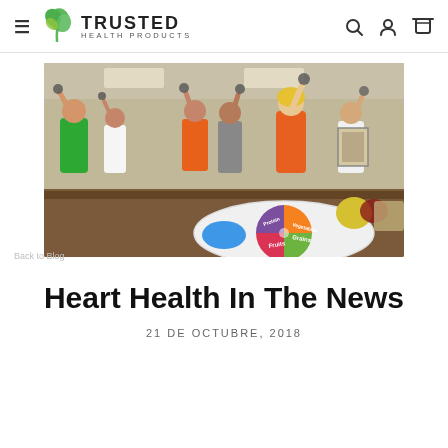TRUSTED HEALTH PRODUCTS
[Figure (photo): Group exercise class indoors with people lifting dumbbells overhead; in the foreground a white plate with a MyPlate food guide diagram showing sections for Grains, Vegetables, Fruits, and Protein, with a blue circle for Dairy, and fruit on the table]
Heart Health In The News
21 DE OCTUBRE, 2018